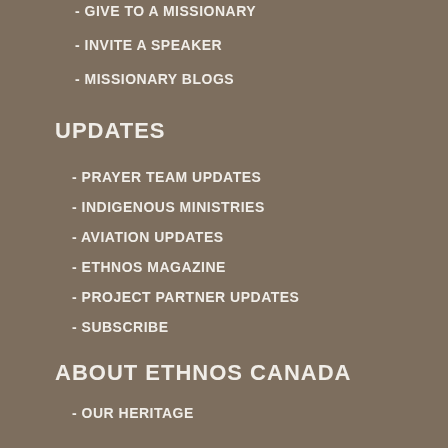- GIVE TO A MISSIONARY
- INVITE A SPEAKER
- MISSIONARY BLOGS
UPDATES
- PRAYER TEAM UPDATES
- INDIGENOUS MINISTRIES
- AVIATION UPDATES
- ETHNOS MAGAZINE
- PROJECT PARTNER UPDATES
- SUBSCRIBE
ABOUT ETHNOS CANADA
- OUR HERITAGE
- WHAT WE BELIEVE
- EVENTS
- INVITE A SPEAKER
- MEDIA INFORMATION
- ACCESSIBILITY